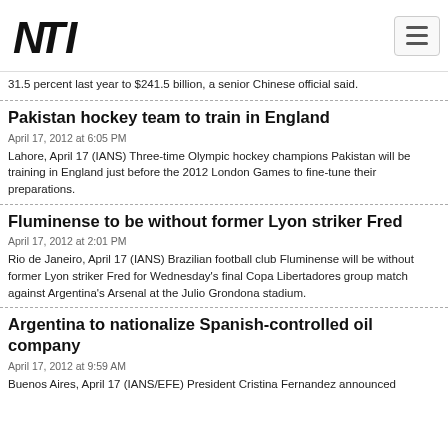NTI logo and navigation
31.5 percent last year to $241.5 billion, a senior Chinese official said.
Pakistan hockey team to train in England
April 17, 2012 at 6:05 PM
Lahore, April 17 (IANS) Three-time Olympic hockey champions Pakistan will be training in England just before the 2012 London Games to fine-tune their preparations.
Fluminense to be without former Lyon striker Fred
April 17, 2012 at 2:01 PM
Rio de Janeiro, April 17 (IANS) Brazilian football club Fluminense will be without former Lyon striker Fred for Wednesday's final Copa Libertadores group match against Argentina's Arsenal at the Julio Grondona stadium.
Argentina to nationalize Spanish-controlled oil company
April 17, 2012 at 9:59 AM
Buenos Aires, April 17 (IANS/EFE) President Cristina Fernandez announced